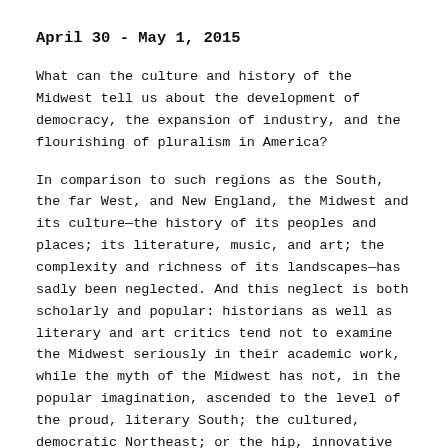April 30 - May 1, 2015
What can the culture and history of the Midwest tell us about the development of democracy, the expansion of industry, and the flourishing of pluralism in America?
In comparison to such regions as the South, the far West, and New England, the Midwest and its culture—the history of its peoples and places; its literature, music, and art; the complexity and richness of its landscapes—has sadly been neglected. And this neglect is both scholarly and popular: historians as well as literary and art critics tend not to examine the Midwest seriously in their academic work, while the myth of the Midwest has not, in the popular imagination, ascended to the level of the proud, literary South; the cultured, democratic Northeast; or the hip, innovative West Coast.